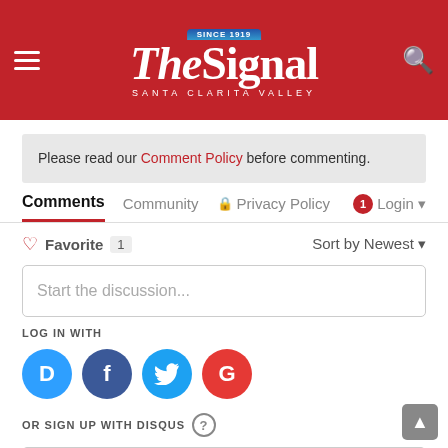[Figure (logo): The Signal Santa Clarita Valley newspaper logo on red background with hamburger menu and search icon]
Please read our Comment Policy before commenting.
Comments  Community  Privacy Policy  Login
Favorite 1   Sort by Newest
Start the discussion...
LOG IN WITH
[Figure (other): Social login icons: Disqus (blue D), Facebook (dark blue f), Twitter (light blue bird), Google (red G)]
OR SIGN UP WITH DISQUS
Name